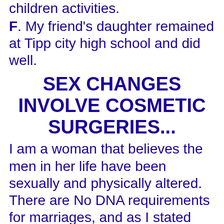children activities.
F. My friend's daughter remained at Tipp city high school and did well.
SEX CHANGES INVOLVE COSMETIC SURGERIES...
I am a woman that believes the men in her life have been sexually and physically altered. There are No DNA requirements for marriages, and as I stated